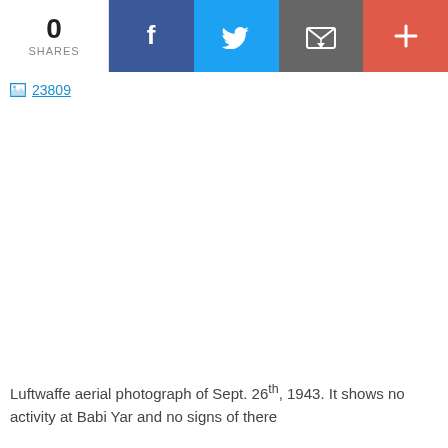[Figure (other): Social share bar with count 0 SHARES, Facebook button, Twitter bird button, email/envelope button, and plus button]
[Figure (photo): Broken image placeholder showing icon and filename '23809' in blue link text — image failed to load]
Luftwaffe aerial photograph of Sept. 26th, 1943. It shows no activity at Babi Yar and no signs of there